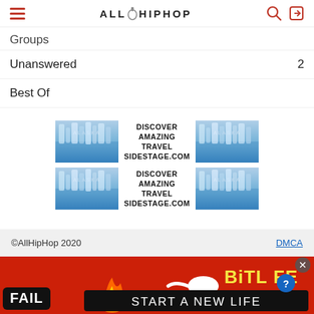ALLHIPHOP
Groups
Unanswered  2
Best Of
[Figure (infographic): Two travel advertisement banners for SIDESTAGE.COM showing Alaska glacier images with text: DISCOVER AMAZING TRAVEL SIDESTAGE.COM]
©AllHipHop 2020    DMCA
[Figure (infographic): Bottom banner advertisement: FAIL emoji, flame graphic, person facepalm emoji, sperm mascot, BitLife logo, START A NEW LIFE text on red background]